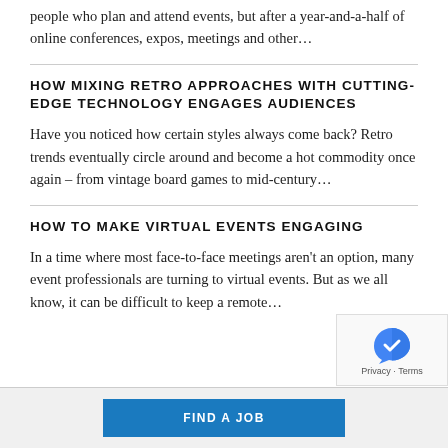people who plan and attend events, but after a year-and-a-half of online conferences, expos, meetings and other…
HOW MIXING RETRO APPROACHES WITH CUTTING-EDGE TECHNOLOGY ENGAGES AUDIENCES
Have you noticed how certain styles always come back? Retro trends eventually circle around and become a hot commodity once again – from vintage board games to mid-century…
HOW TO MAKE VIRTUAL EVENTS ENGAGING
In a time where most face-to-face meetings aren't an option, many event professionals are turning to virtual events. But as we all know, it can be difficult to keep a remote…
FIND A JOB